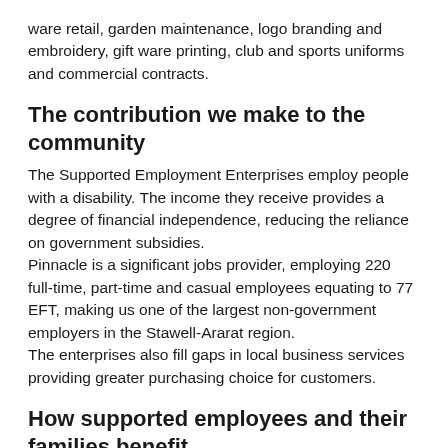ware retail, garden maintenance, logo branding and embroidery, gift ware printing, club and sports uniforms and commercial contracts.
The contribution we make to the community
The Supported Employment Enterprises employ people with a disability. The income they receive provides a degree of financial independence, reducing the reliance on government subsidies.
Pinnacle is a significant jobs provider, employing 220 full-time, part-time and casual employees equating to 77 EFT, making us one of the largest non-government employers in the Stawell-Ararat region.
The enterprises also fill gaps in local business services providing greater purchasing choice for customers.
How supported employees and their families benefit
We assist people with a disability to increase their skills and